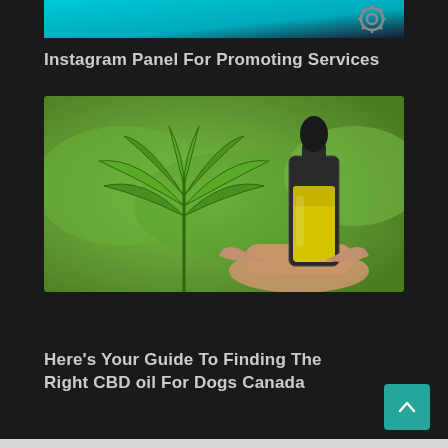[Figure (screenshot): Top banner image strip with teal/cyan background and gear icon on the right side]
Instagram Panel For Promoting Services
[Figure (photo): A hand holding a small glass dropper bottle filled with yellow CBD oil in front of a cannabis plant with green leaves, blurred green background]
Here's Your Guide To Finding The Right CBD oil For Dogs Canada